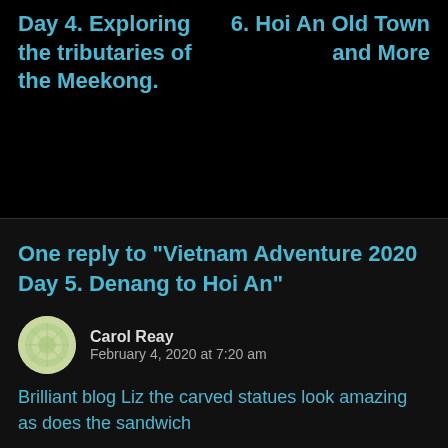Day 4. Exploring the tributaries of the Meekong.
6. Hoi An Old Town and More
One reply to “Vietnam Adventure 2020 Day 5. Denang to Hoi An”
Carol Reay
February 4, 2020 at 7:20 am
Brilliant blog Liz the carved statues look amazing as does the sandwich
Loading...
Advertisements
[Figure (logo): WordPress VIP logo with WP circle icon and 'vip' text]
[Figure (infographic): Peach/pink gradient advertisement banner with 'Learn more' button]